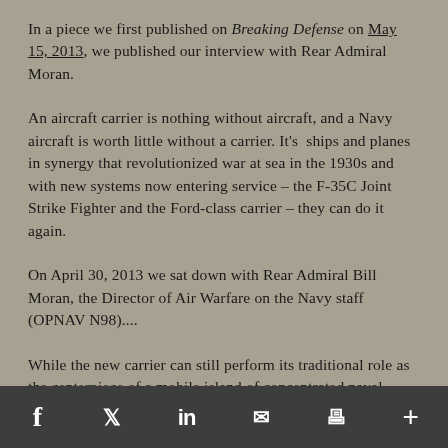In a piece we first published on Breaking Defense on May 15, 2013, we published our interview with Rear Admiral Moran.
An aircraft carrier is nothing without aircraft, and a Navy aircraft is worth little without a carrier. It's ships and planes in synergy that revolutionized war at sea in the 1930s and with new systems now entering service – the F-35C Joint Strike Fighter and the Ford-class carrier – they can do it again.
On April 30, 2013 we sat down with Rear Admiral Bill Moran, the Director of Air Warfare on the Navy staff (OPNAV N98)....
While the new carrier can still perform its traditional role as the centerpiece of a mobile island of concentrated naval force, Moran said, the Ford class, the evolving air wing, and an array of other new capabilities will allow the
f  [twitter]  in  [email]  [print]  +